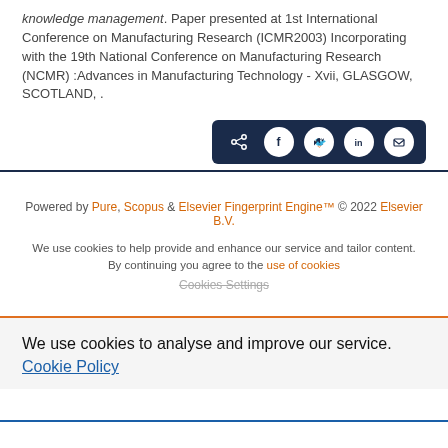knowledge management. Paper presented at 1st International Conference on Manufacturing Research (ICMR2003) Incorporating with the 19th National Conference on Manufacturing Research (NCMR) :Advances in Manufacturing Technology - Xvii, GLASGOW, SCOTLAND, .
[Figure (other): Social share button group with icons for share, Facebook, Twitter, LinkedIn, and email on dark navy background]
Powered by Pure, Scopus & Elsevier Fingerprint Engine™ © 2022 Elsevier B.V.
We use cookies to help provide and enhance our service and tailor content. By continuing you agree to the use of cookies
Cookies Settings
We use cookies to analyse and improve our service. Cookie Policy